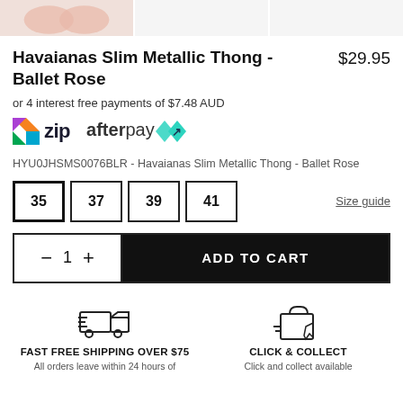[Figure (photo): Three product thumbnail images of Havaianas Slim Metallic Thong in Ballet Rose]
Havaianas Slim Metallic Thong - Ballet Rose
$29.95
or 4 interest free payments of $7.48 AUD
[Figure (logo): Zip payment logo]
[Figure (logo): Afterpay payment logo]
HYU0JHSMS0076BLR - Havaianas Slim Metallic Thong - Ballet Rose
35  37  39  41
Size guide
ADD TO CART
FAST FREE SHIPPING OVER $75
All orders leave within 24 hours of
CLICK & COLLECT
Click and collect available